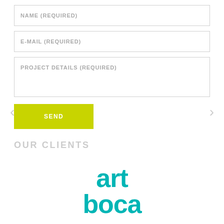NAME (REQUIRED)
E-MAIL (REQUIRED)
PROJECT DETAILS (REQUIRED)
SEND
OUR CLIENTS
[Figure (logo): Art Boca logo in teal/turquoise color showing 'art' on top line and 'boca' on bottom line in bold rounded font]